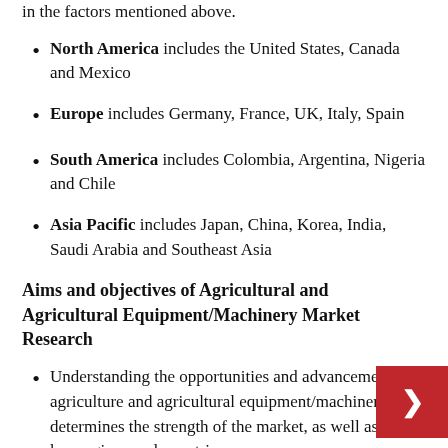in the factors mentioned above.
North America includes the United States, Canada and Mexico
Europe includes Germany, France, UK, Italy, Spain
South America includes Colombia, Argentina, Nigeria and Chile
Asia Pacific includes Japan, China, Korea, India, Saudi Arabia and Southeast Asia
Aims and objectives of Agricultural and Agricultural Equipment/Machinery Market Research
Understanding the opportunities and advancements in agriculture and agricultural equipment/machinery determines the strength of the market, as well as the key regions and countries